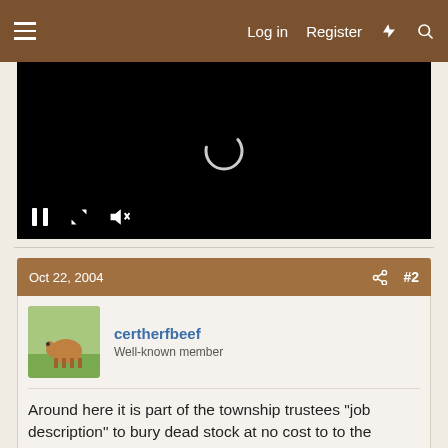≡  Log in  Register  ⚡  🔍
[Figure (screenshot): Black video player with loading spinner and playback controls (pause, fullscreen, mute) at the bottom left]
Oct 22, 2004   #2
certherfbeef
Well-known member
Around here it is part of the township trustees "job description" to bury dead stock at no cost to to the owner of the animal. The will bury it on your farm where you want.